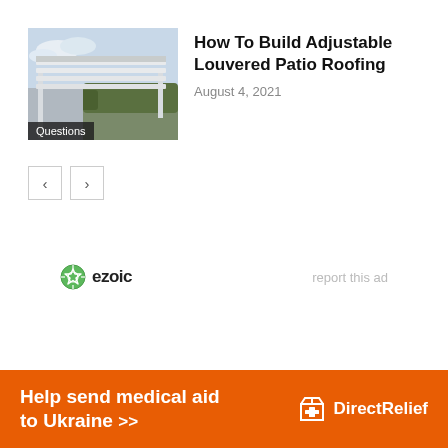[Figure (photo): Photo of an adjustable louvered patio roofing structure, white aluminum louvers overhead, green hedges in background. Label 'Questions' overlaid at bottom left.]
How To Build Adjustable Louvered Patio Roofing
August 4, 2021
< >
[Figure (logo): Ezoic logo with green circular icon and bold text 'ezoic']
report this ad
Help send medical aid to Ukraine >> Direct Relief